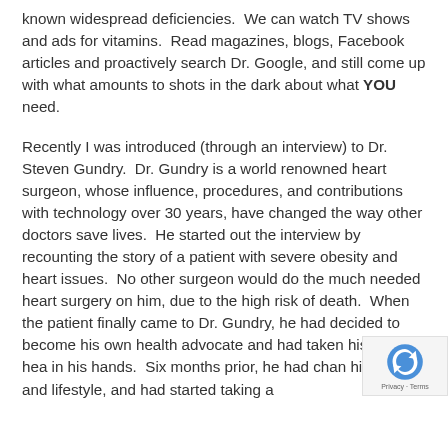known widespread deficiencies.  We can watch TV shows and ads for vitamins.  Read magazines, blogs, Facebook articles and proactively search Dr. Google, and still come up with what amounts to shots in the dark about what YOU need.
Recently I was introduced (through an interview) to Dr. Steven Gundry.  Dr. Gundry is a world renowned heart surgeon, whose influence, procedures, and contributions with technology over 30 years, have changed the way other doctors save lives.  He started out the interview by recounting the story of a patient with severe obesity and heart issues.  No other surgeon would do the much needed heart surgery on him, due to the high risk of death.  When the patient finally came to Dr. Gundry, he had decided to become his own health advocate and had taken his own hea... in his hands.  Six months prior, he had chan... his diet and lifestyle, and had started taking a...